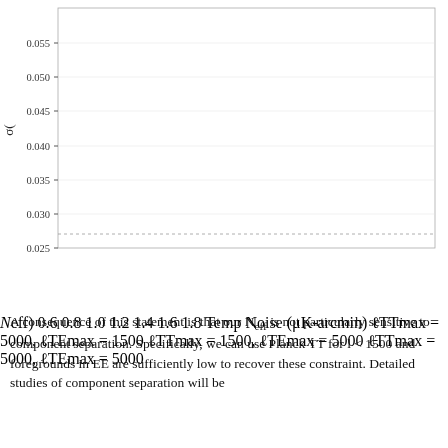[Figure (line-chart): ]
A consequence of this statement is that our N_eff is not particularly sensitive to component separation. Specifically, we can use Planck TT for l < 1500 and foregrounds in EE are sufficiently low to recover these constraint. Detailed studies of component separation will be